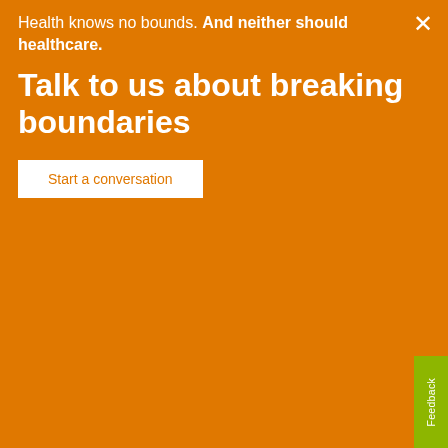Health knows no bounds. And neither should healthcare.
Talk to us about breaking boundaries
Start a conversation
confident diagnosis
Find out more about our diagnostic solutions ›
Start a conversation
* This field is mandatory
1 Contact details